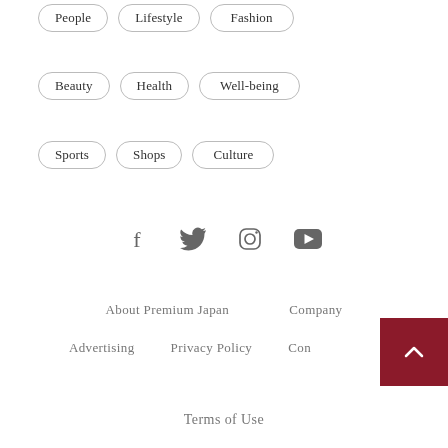People  Lifestyle  Fashion
Beauty  Health  Well-being
Sports  Shops  Culture
[Figure (infographic): Social media icons: Facebook, Twitter, Instagram, YouTube]
About Premium Japan    Company
Advertising    Privacy Policy    Con
Terms of Use